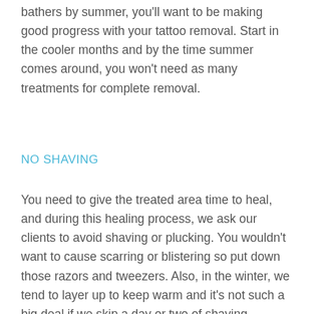bathers by summer, you'll want to be making good progress with your tattoo removal. Start in the cooler months and by the time summer comes around, you won't need as many treatments for complete removal.
NO SHAVING
You need to give the treated area time to heal, and during this healing process, we ask our clients to avoid shaving or plucking. You wouldn't want to cause scarring or blistering so put down those razors and tweezers. Also, in the winter, we tend to layer up to keep warm and it's not such a big deal if we skip a day or two of shaving.